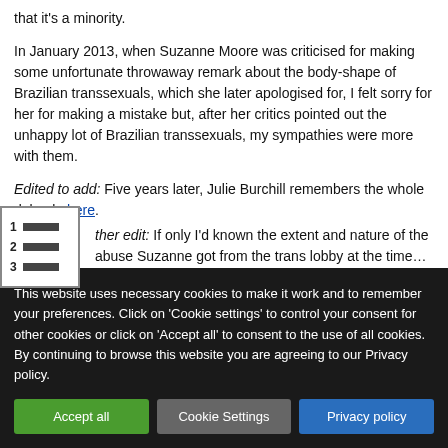that it's a minority.
In January 2013, when Suzanne Moore was criticised for making some unfortunate throwaway remark about the body-shape of Brazilian transsexuals, which she later apologised for, I felt sorry for her for making a mistake but, after her critics pointed out the unhappy lot of Brazilian transsexuals, my sympathies were more with them.
Edited to add: Five years later, Julie Burchill remembers the whole debacle here.
[Figure (other): A list/menu icon showing three numbered rows (1, 2, 3) with horizontal bars]
Further edit: If only I'd known the extent and nature of the abuse Suzanne got from the trans lobby at the time…
This website uses necessary cookies to make it work and to remember your preferences. Click on 'Cookie settings' to control your consent for other cookies or click on 'Accept all' to consent to the use of all cookies. By continuing to browse this website you are agreeing to our Privacy policy.